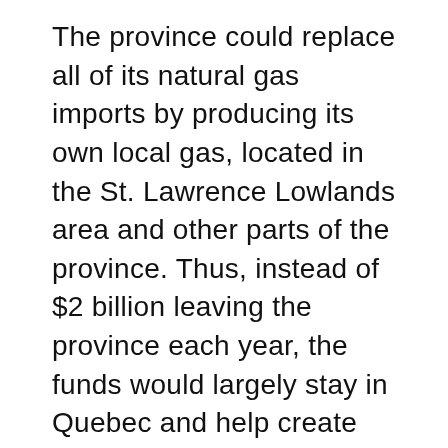The province could replace all of its natural gas imports by producing its own local gas, located in the St. Lawrence Lowlands area and other parts of the province. Thus, instead of $2 billion leaving the province each year, the funds would largely stay in Quebec and help create jobs for Quebecers. The companies and workers involved in natural gas development would also pay taxes to the government – money that could be used to